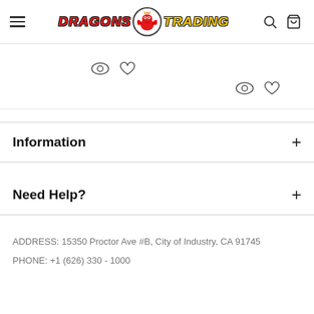Dragons Trading - Navigation header with logo, hamburger menu, search and cart icons
[Figure (screenshot): Product listing area with eye (quick view) and heart (wishlist) icons for two products]
Information
Need Help?
ADDRESS: 15350 Proctor Ave #B, City of Industry, CA 91745
PHONE: +1 (626) 330 - 1000